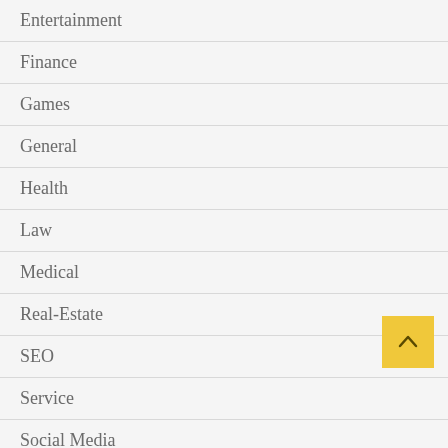Entertainment
Finance
Games
General
Health
Law
Medical
Real-Estate
SEO
Service
Social Media